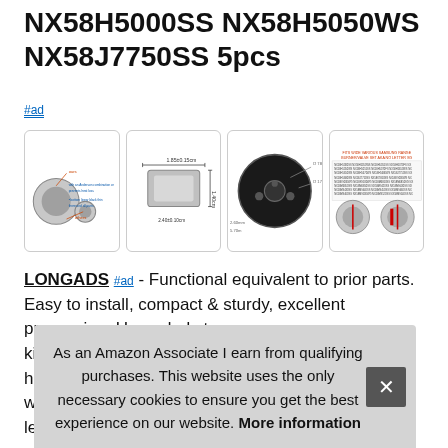NX58H5000SS NX58H5050WS NX58J7750SS 5pcs
#ad
[Figure (photo): Four product images showing stove knobs/burner parts: (1) parts diagram with labels, (2) flat silver knob from above with dimensions, (3) circular back plate with dimension callouts, (4) text spec sheet with two knob photos]
LONGADS #ad - Functional equivalent to prior parts. Easy to install, compact & sturdy, excellent processing. Upgraded stro… kind… hea… with… leav…
As an Amazon Associate I earn from qualifying purchases. This website uses the only necessary cookies to ensure you get the best experience on our website. More information